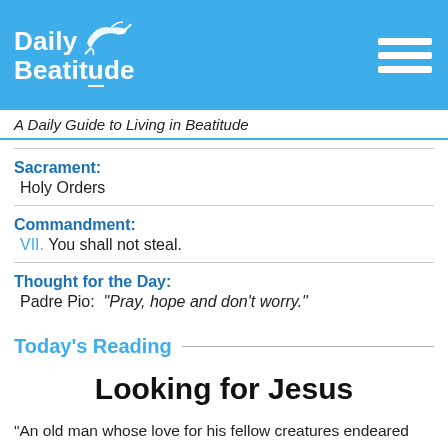Daily Beatitude
A Daily Guide to Living in Beatitude
Sacrament:
Holy Orders
Commandment:
VII. You shall not steal.
Thought for the Day:
Padre Pio:  "Pray, hope and don't worry."
Today's Reading
Looking for Jesus
“An old man whose love for his fellow creatures endeared